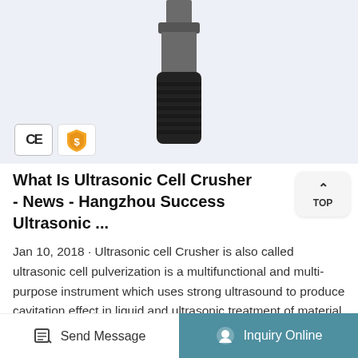[Figure (photo): Ultrasonic cell crusher device — cylindrical black and dark gray metal instrument shown against a light blue-gray background. CE certification badge and gold supplier badge shown at bottom left of image.]
What Is Ultrasonic Cell Crusher - News - Hangzhou Success Ultrasonic ...
Jan 10, 2018 · Ultrasonic cell Crusher is also called ultrasonic cell pulverization is a multifunctional and multi-purpose instrument which uses strong ultrasound to produce cavitation effect in liquid and ultrasonic treatment of material. Can be used for a variety of plant and animal cells, virus cells broken, and ultrasonic cell crusher can be used for
Send Message   Inquiry Online